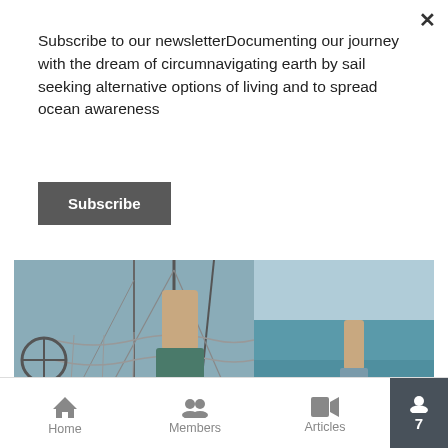Subscribe to our newsletterDocumenting our journey with the dream of circumnavigating earth by sail seeking alternative options of living and to spread ocean awareness
Subscribe
[Figure (photo): A sailing boat deck showing a person in swim shorts near a hammock and rigging, with turquoise ocean water and another person visible on a boat in the background. A red badge shows an eye icon and the number 0.]
Sailing Indonesia Costs, Visas, food + Dinghy Tip for all cruisers Episode 273 | Sailing Catalpa
Home   Members   Articles   7